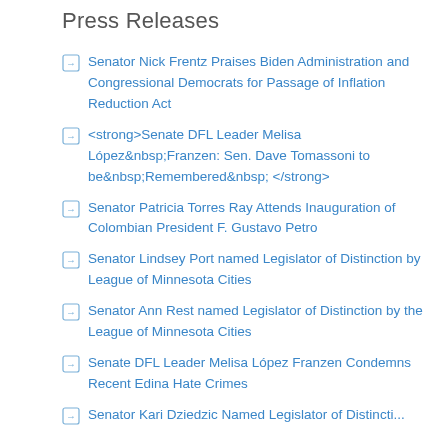Press Releases
Senator Nick Frentz Praises Biden Administration and Congressional Democrats for Passage of Inflation Reduction Act
<strong>Senate DFL Leader Melisa López&nbsp;Franzen: Sen. Dave Tomassoni to be&nbsp;Remembered&nbsp;</strong>
Senator Patricia Torres Ray Attends Inauguration of Colombian President F. Gustavo Petro
Senator Lindsey Port named Legislator of Distinction by League of Minnesota Cities
Senator Ann Rest named Legislator of Distinction by the League of Minnesota Cities
Senate DFL Leader Melisa López Franzen Condemns Recent Edina Hate Crimes
Senator Kari Dziedzic Named Legislator of Distinction...